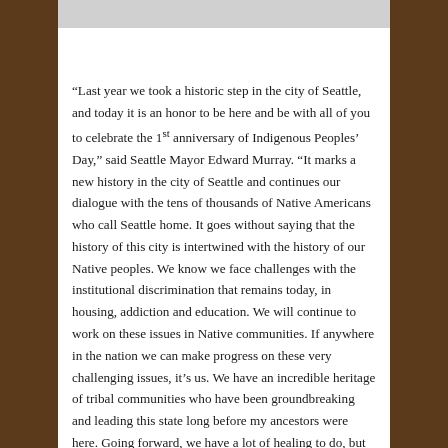“Last year we took a historic step in the city of Seattle, and today it is an honor to be here and be with all of you to celebrate the 1st anniversary of Indigenous Peoples’ Day,” said Seattle Mayor Edward Murray. “It marks a new history in the city of Seattle and continues our dialogue with the tens of thousands of Native Americans who call Seattle home. It goes without saying that the history of this city is intertwined with the history of our Native peoples. We know we face challenges with the institutional discrimination that remains today, in housing, addiction and education. We will continue to work on these issues in Native communities. If anywhere in the nation we can make progress on these very challenging issues, it’s us. We have an incredible heritage of tribal communities who have been groundbreaking and leading this state long before my ancestors were here. Going forward, we have a lot of healing to do, but today we are here to celebrate. Today we are here to honor. Today we…”